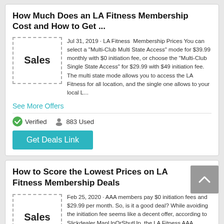How Much Does an LA Fitness Membership Cost and How to Get ...
[Figure (other): Dashed border box with 'Sales' text label]
Jul 31, 2019 · LA Fitness Membership Prices You can select a "Multi-Club Multi State Access" mode for $39.99 monthly with $0 initiation fee, or choose the "Multi-Club Single State Access" for $29.99 with $49 initiation fee. The multi state mode allows you to access the LA Fitness for all location, and the single one allows to your local L...
See More Offers
Verified   883 Used
Get Deals Link
How to Score the Lowest Prices on LA Fitness Membership Deals
[Figure (other): Dashed border box with 'Sales' text label]
Feb 25, 2020 · AAA members pay $0 initiation fees and $29.99 per month. So, is it a good deal? While avoiding the initiation fee seems like a decent offer, according to Slickdealer ManUpOrShutUp, the LA Fitness AAA discount listed above "is the standard, everyday 'deal' at